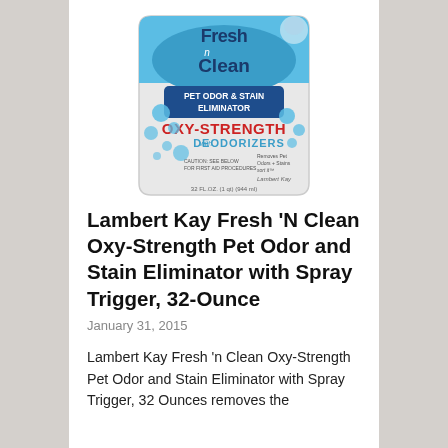[Figure (photo): Product photo of Lambert Kay Fresh 'N Clean Oxy-Strength Pet Odor & Stain Eliminator spray bottle (32 oz), white bottle with blue label showing 'Fresh n Clean' branding, 'Pet Odor & Stain Eliminator', 'Oxy-Strength with Deodorizers' text, Lambert Kay brand, blue bubble graphics.]
Lambert Kay Fresh 'N Clean Oxy-Strength Pet Odor and Stain Eliminator with Spray Trigger, 32-Ounce
January 31, 2015
Lambert Kay Fresh 'n Clean Oxy-Strength Pet Odor and Stain Eliminator with Spray Trigger, 32 Ounces removes the